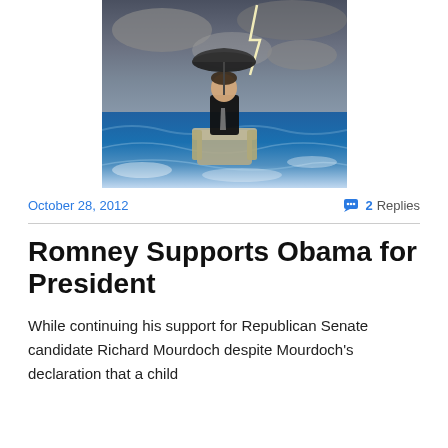[Figure (photo): A man in a dark suit sitting in an armchair holding an umbrella, floating on stormy ocean waters with lightning in the background]
October 28, 2012
2 Replies
Romney Supports Obama for President
While continuing his support for Republican Senate candidate Richard Mourdoch despite Mourdoch's declaration that a child